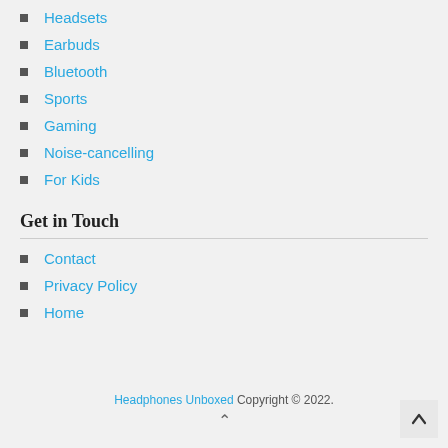Headsets
Earbuds
Bluetooth
Sports
Gaming
Noise-cancelling
For Kids
Get in Touch
Contact
Privacy Policy
Home
Headphones Unboxed Copyright © 2022.